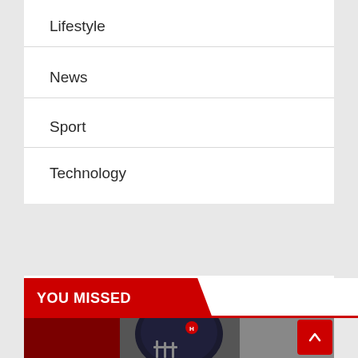Lifestyle
News
Sport
Technology
YOU MISSED
[Figure (photo): American football player wearing a dark helmet with a red logo, on a blurred red and grey background]